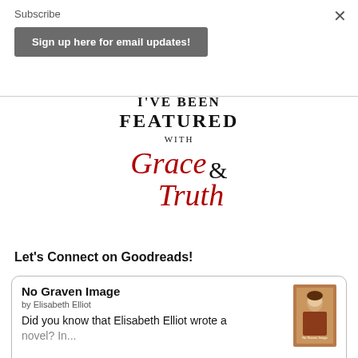Subscribe
Sign up here for email updates!
[Figure (other): I've Been Featured with Grace & Truth badge/logo — decorative serif and script text in black and red]
Let's Connect on Goodreads!
No Graven Image by Elisabeth Elliot Did you know that Elisabeth Elliot wrote a